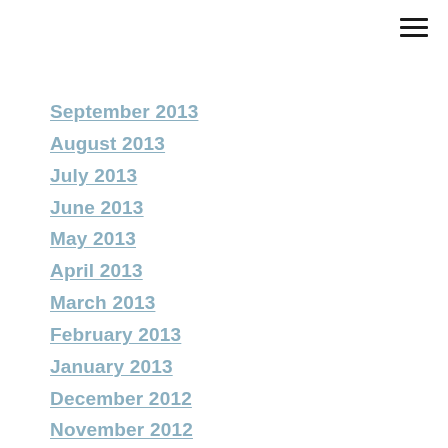September 2013
August 2013
July 2013
June 2013
May 2013
April 2013
March 2013
February 2013
January 2013
December 2012
November 2012
October 2012
September 2012
August 2012
July 2012
June 2012
May 2012